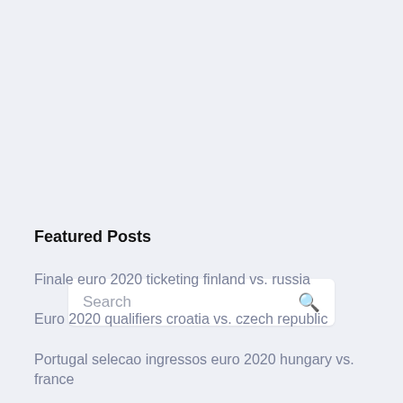[Figure (screenshot): Search bar with placeholder text 'Search' and a magnifying glass icon on the right, on a light blue-grey background]
Featured Posts
Finale euro 2020 ticketing finland vs. russia
Euro 2020 qualifiers croatia vs. czech republic
Portugal selecao ingressos euro 2020 hungary vs. france
Euro 2020 qualifying rules croatia vs. scotland